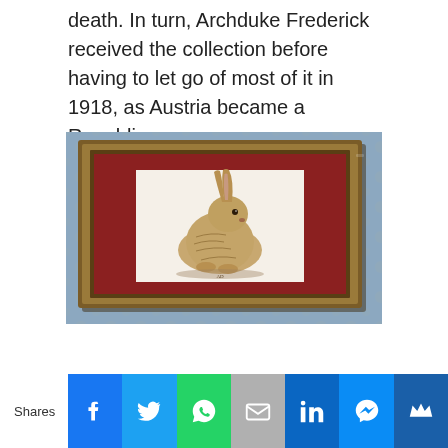death. In turn, Archduke Frederick received the collection before having to let go of most of it in 1918, as Austria became a Republic.
[Figure (photo): A framed painting of Dürer's Young Hare hanging on a blue floral wallpapered wall. The painting is mounted in a gold-brown ornate frame with a dark red mat.]
Shares | Facebook | Twitter | WhatsApp | Email | LinkedIn | Messenger | Crown